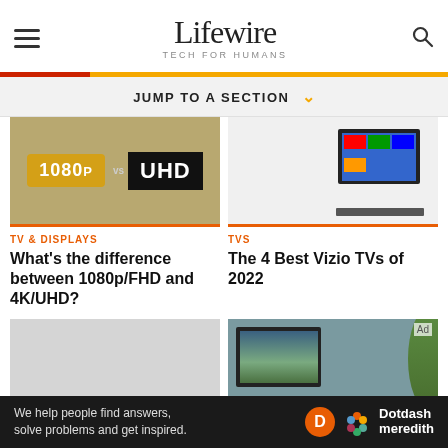Lifewire — TECH FOR HUMANS
JUMP TO A SECTION
[Figure (photo): 1080p vs UHD logo comparison image]
TV & DISPLAYS
What's the difference between 1080p/FHD and 4K/UHD?
[Figure (photo): Vizio TV mounted on white wall with soundbar]
TVS
The 4 Best Vizio TVs of 2022
[Figure (photo): Gray placeholder image]
[Figure (photo): Smart TV with landscape wallpaper on screen]
We help people find answers, solve problems and get inspired. Dotdash meredith